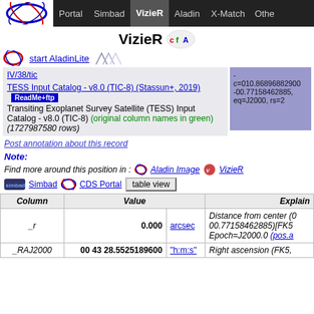Portal  Simbad  VizieR  Aladin  X-Match  Other
VizieR CFA
start AladinLite
IV/38/tic  TESS Input Catalog - v8.0 (TIC-8) (Stassun+, 2019)  ReadMe+ftp  Transiting Exoplanet Survey Satellite (TESS) Input Catalog - v8.0 (TIC-8) (original column names in green) (1727987580 rows)
-  c=010.86896882900 -00.77158462885, eq=J2000, rs=2
Post annotation about this record
Note:
Find more around this position in :  Aladin Image  VizieR
Simbad  CDS Portal  table view
| Column | Value |  | Explanation |
| --- | --- | --- | --- |
| _r | 0.000 | arcsec | Distance from center (010.86896882900, 00.77158462885)[FK5, Epoch=J2000.0 (pos.a |
| _RAJ2000 | 00 43 28.5525189600 | "h:m:s" | Right ascension (FK5, |